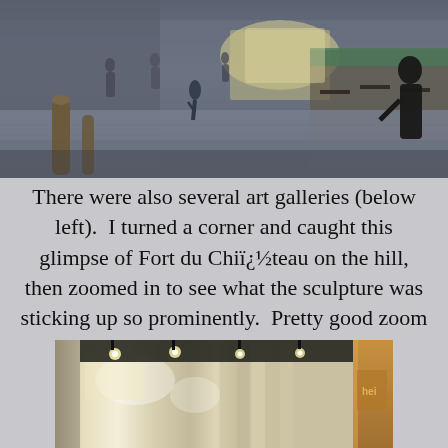[Figure (photo): Outdoor street scene with pedestrians walking on a cobblestone plaza, outdoor cafe seating visible on the right, buildings and storefronts in the background.]
There were also several art galleries (below left).  I turned a corner and caught this glimpse of Fort du Chiï¿½teau on the hill, then zoomed in to see what the sculpture was sticking up so prominently.  Pretty good zoom on the Canon, huh?
[Figure (photo): Close-up photo of an art gallery storefront with glass windows, curtains, and interior lighting visible.]